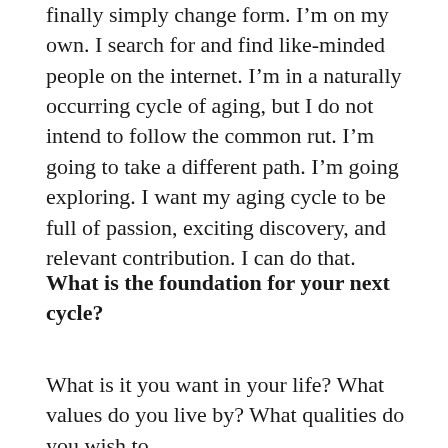finally simply change form. I'm on my own. I search for and find like-minded people on the internet. I'm in a naturally occurring cycle of aging, but I do not intend to follow the common rut. I'm going to take a different path. I'm going exploring. I want my aging cycle to be full of passion, exciting discovery, and relevant contribution. I can do that.
What is the foundation for your next cycle?
What is it you want in your life? What values do you live by? What qualities do you wish to